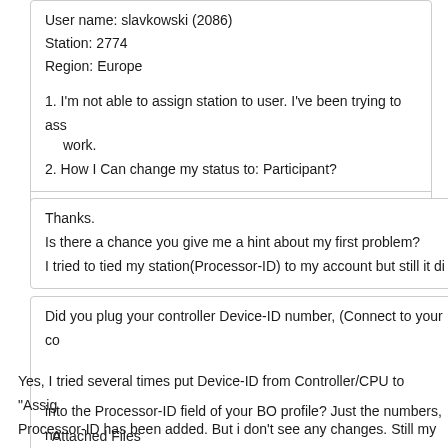User name: slavkowski (2086)
Station: 2774
Region: Europe
1. I'm not able to assign station to user. I've been trying to ass... work.
2. How I Can change my status to: Participant?
Status updated
Thanks.
Is there a chance you give me a hint about my first problem?
I tried to tied my station(Processor-ID) to my account but still it di...
Did you plug your controller Device-ID number, (Connect to your co...
into the Processor-ID field of your BO profile? Just the numbers, no...
Yes, I tried several times put Device-ID from Controller/CPU to "Assig...
Processor-ID has been added. But i don't see any changes. Still my s...
Attached Files